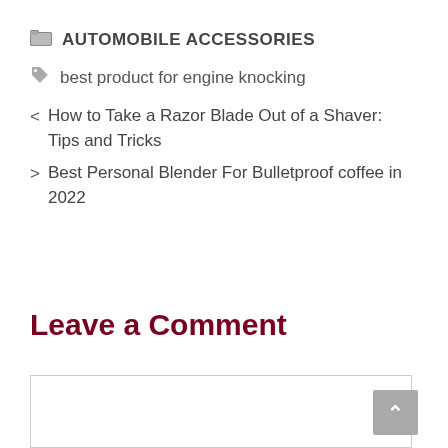🗂 AUTOMOBILE ACCESSORIES
🏷 best product for engine knocking
< How to Take a Razor Blade Out of a Shaver: Tips and Tricks
> Best Personal Blender For Bulletproof coffee in 2022
Leave a Comment